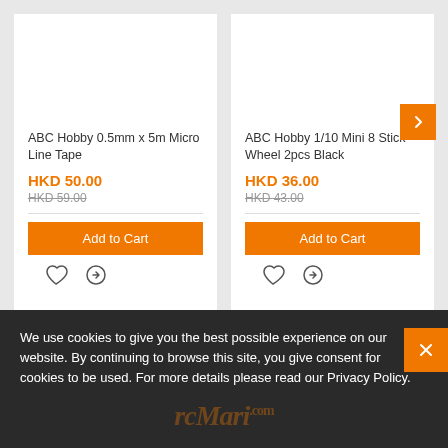[Figure (screenshot): Product card for ABC Hobby 0.5mm x 5m Micro Line Tape showing price HKD 50.00, original price HKD 59.00, Add to Cart button, wishlist and compare icons]
[Figure (screenshot): Product card for ABC Hobby 1/10 Mini 8 Stick Wheel 2pcs Black showing price HKD 36.00, original price HKD 43.00, Add to Cart button, wishlist and compare icons, with orange arrow navigation button]
We use cookies to give you the best possible experience on our website. By continuing to browse this site, you give consent for cookies to be used. For more details please read our Privacy Policy.